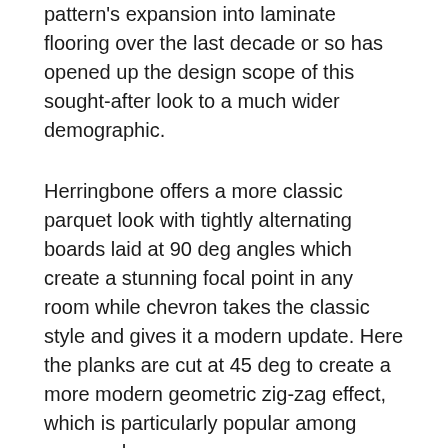pattern's expansion into laminate flooring over the last decade or so has opened up the design scope of this sought-after look to a much wider demographic.
Herringbone offers a more classic parquet look with tightly alternating boards laid at 90 deg angles which create a stunning focal point in any room while chevron takes the classic style and gives it a modern update. Here the planks are cut at 45 deg to create a more modern geometric zig-zag effect, which is particularly popular among younger homeowners.
One of the main advantages of laminate flooring is its hardwearing surface layer. It does not crack like a ceramic so is increasingly viewed by consumers and retailers alike as a real alternative to a traditionally laid ceramic tiled floor, and of course the fact that it can be laid with ease in a fraction of the time to tiles is a major selling point for installers.